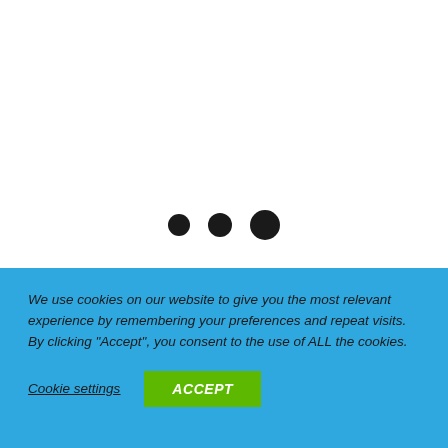[Figure (other): Three black dots of increasing size arranged horizontally, resembling a loading indicator]
We use cookies on our website to give you the most relevant experience by remembering your preferences and repeat visits. By clicking "Accept", you consent to the use of ALL the cookies.
Cookie settings
ACCEPT